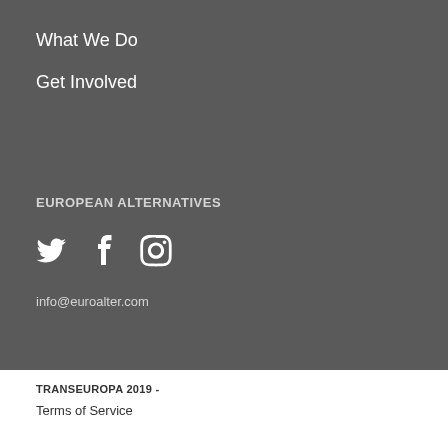What We Do
Get Involved
EUROPEAN ALTERNATIVES
[Figure (other): Social media icons: Twitter bird, Facebook f, Instagram camera]
info@euroalter.com
TRANSEUROPA 2019 -
Terms of Service